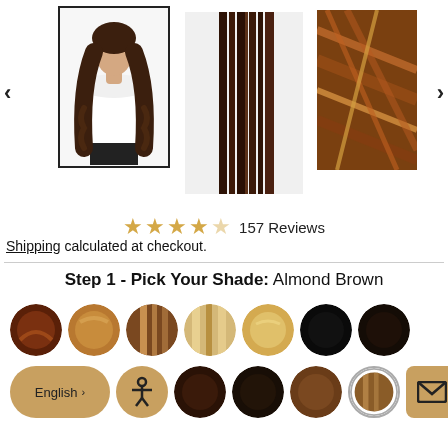[Figure (screenshot): Product image carousel showing hair extensions. First thumbnail (selected, with black border) shows a woman wearing long wavy hair extensions in a white shirt. Second thumbnail shows straight dark brown hair extension strands. Third thumbnail shows a close-up of brown highlighted hair texture. Left and right navigation arrows flanking the carousel.]
[Figure (infographic): Star rating row showing 4.5 out of 5 stars (5 gold stars, last one partially filled) followed by '157 Reviews' text.]
Shipping calculated at checkout.
Step 1 - Pick Your Shade: Almond Brown
[Figure (infographic): Two rows of circular hair color swatches. Row 1 (7 swatches): auburn/dark red-brown, golden caramel, medium brown with highlight streaks, blonde mix, light golden blonde, jet black, very dark brown/off-black. Row 2 (partial view, 5+ swatches): dark brown, dark black-brown, medium brown, almond brown (selected, with grey border ring), and a mail icon button. Also shown: English language selector button and accessibility icon button.]